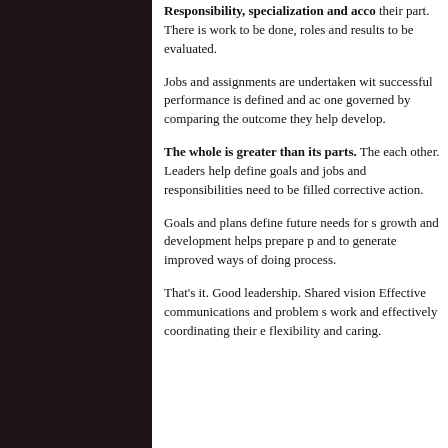Responsibility, specialization and acco their part. There is work to be done, roles and results to be evaluated.
Jobs and assignments are undertaken wit successful performance is defined and ac one governed by comparing the outcome they help develop.
The whole is greater than its parts. The each other. Leaders help define goals and jobs and responsibilities need to be filled corrective action.
Goals and plans define future needs for s growth and development helps prepare p and to generate improved ways of doing process.
That's it. Good leadership. Shared vision Effective communications and problem s work and effectively coordinating their e flexibility and caring.